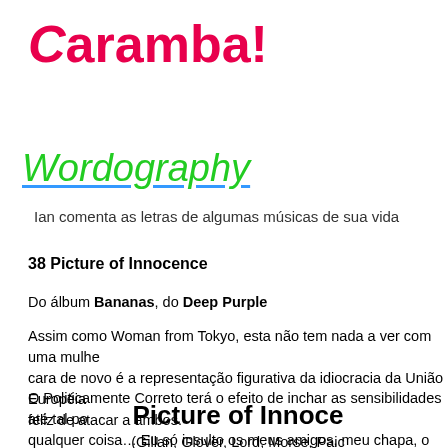Caramba!
Wordography
Ian comenta as letras de algumas músicas de sua vida
38 Picture of Innocence
Do álbum Bananas, do Deep Purple
Assim como Woman from Tokyo, esta não tem nada a ver com uma mulher. A cara de novo é a representação figurativa da idiocracia da União Européia e fico feliz de atacar a ambos.
O Politicamente Correto terá o efeito de inchar as sensibilidades até tal ponto de qualquer coisa… Eu só insulto os meus amigos, meu chapa, o resto pode ir. Os Reguladores da União Européia estão nos guiando, com sucesso, a um es...
Picture of Innocence
(Gillan, Glover, Lord, Morse, Paice)